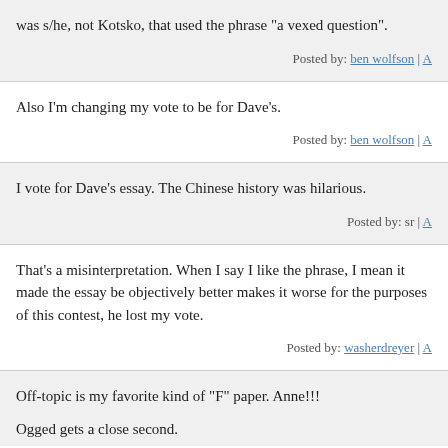was s/he, not Kotsko, that used the phrase "a vexed question".
Posted by: ben wolfson | A
Also I'm changing my vote to be for Dave's.
Posted by: ben wolfson | A
I vote for Dave's essay. The Chinese history was hilarious.
Posted by: sr | A
That's a misinterpretation. When I say I like the phrase, I mean it made the essay be objectively better makes it worse for the purposes of this contest, he lost my vote.
Posted by: washerdreyer | A
Off-topic is my favorite kind of "F" paper. Anne!!!
Ogged gets a close second.